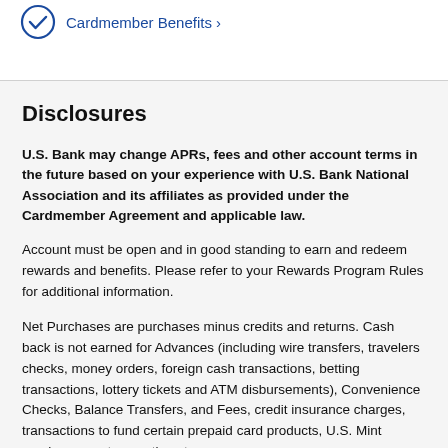[Figure (logo): Blue circle checkmark icon with 'Cardmember Benefits' link text in blue]
Disclosures
U.S. Bank may change APRs, fees and other account terms in the future based on your experience with U.S. Bank National Association and its affiliates as provided under the Cardmember Agreement and applicable law.
Account must be open and in good standing to earn and redeem rewards and benefits. Please refer to your Rewards Program Rules for additional information.
Net Purchases are purchases minus credits and returns. Cash back is not earned for Advances (including wire transfers, travelers checks, money orders, foreign cash transactions, betting transactions, lottery tickets and ATM disbursements), Convenience Checks, Balance Transfers, and Fees, credit insurance charges, transactions to fund certain prepaid card products, U.S. Mint purchases, or transactions to